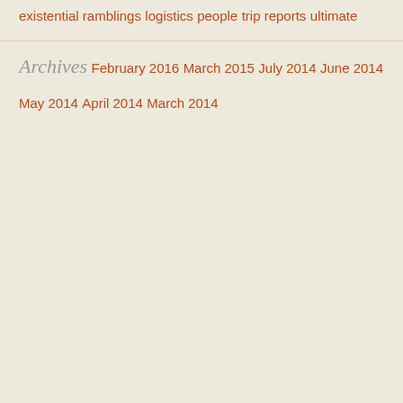existential ramblings
logistics
people
trip reports
ultimate
Archives
February 2016
March 2015
July 2014
June 2014
May 2014
April 2014
March 2014